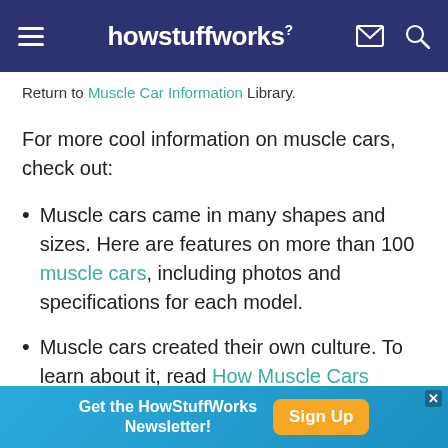howstuffworks
Return to Muscle Car Information Library.
For more cool information on muscle cars, check out:
Muscle cars came in many shapes and sizes. Here are features on more than 100 muscle cars, including photos and specifications for each model.
Muscle cars created their own culture. To learn about it, read How Muscle Cars Work.
For more profiles, photos, and specifications of
[Figure (other): Advertisement banner: Get the HowStuffWorks Newsletter! with Sign Up button]